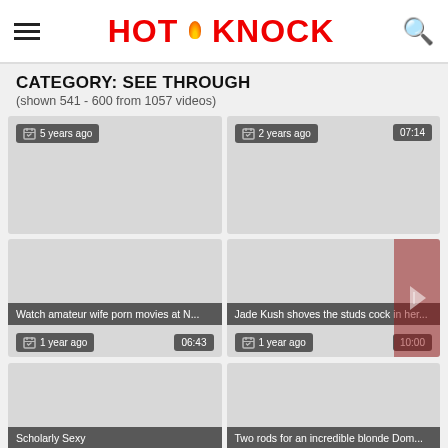HOT KNOCK
CATEGORY: SEE THROUGH
(shown 541 - 600 from 1057 videos)
[Figure (screenshot): Video thumbnail card 1, date: 5 years ago]
[Figure (screenshot): Video thumbnail card 2, date: 2 years ago, duration: 07:14]
[Figure (screenshot): Video card: Watch amateur wife porn movies at N..., date: 1 year ago, duration: 06:43]
[Figure (screenshot): Video card: Jade Kush shoves the studs cock in her..., date: 1 year ago, duration: 10:00]
[Figure (screenshot): Video card: Scholarly Sexy, date: 5 years ago]
[Figure (screenshot): Video card: Two rods for an incredible blonde Dom..., date: 2 years ago, duration: 05:10]